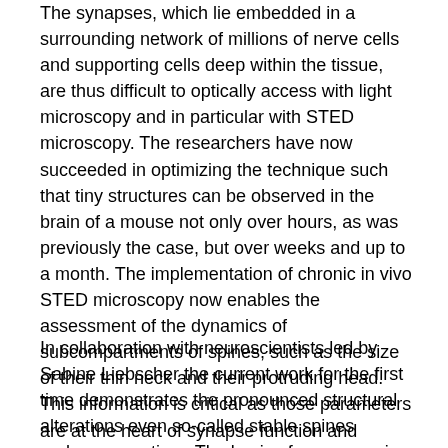The synapses, which lie embedded in a surrounding network of millions of nerve cells and supporting cells deep within the tissue, are thus difficult to optically access with light microscopy and in particular with STED microscopy. The researchers have now succeeded in optimizing the technique such that tiny structures can be observed in the brain of a mouse not only over hours, as was previously the case, but over weeks and up to a month. The implementation of chronic in vivo STED microscopy now enables the assessment of the dynamics of subcompartments of spines, such as the size of their thin neck and their protruding head. This information is critical as those parameters are at the heart of synapse function and determine its strength.
In collaboration with neuroscientists led by Sabine Liebscher the current work for the first time demonstrates the pronounced structural alterations even so-called stable spines undergo over time. The basis of our memories is thus anything but rigid.